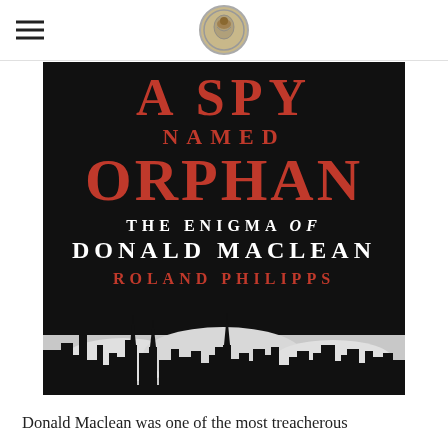Navigation header with hamburger menu and coin logo
[Figure (photo): Book cover of 'A Spy Named Orphan: The Enigma of Donald Maclean' by Roland Philipps. Dark/black background with red title text for 'A SPY NAMED ORPHAN', white subtitle text 'THE ENIGMA of DONALD MACLEAN', red author text 'ROLAND PHILIPPS', and a cityscape silhouette at the bottom.]
Donald Maclean was one of the most treacherous